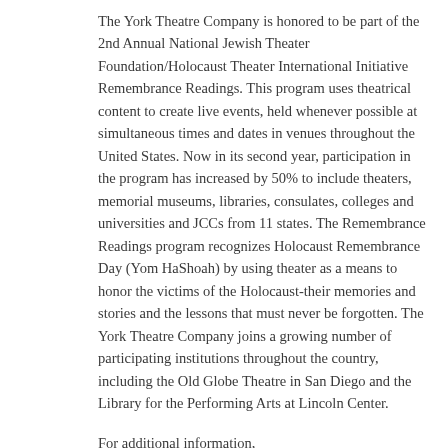The York Theatre Company is honored to be part of the 2nd Annual National Jewish Theater Foundation/Holocaust Theater International Initiative Remembrance Readings. This program uses theatrical content to create live events, held whenever possible at simultaneous times and dates in venues throughout the United States. Now in its second year, participation in the program has increased by 50% to include theaters, memorial museums, libraries, consulates, colleges and universities and JCCs from 11 states. The Remembrance Readings program recognizes Holocaust Remembrance Day (Yom HaShoah) by using theater as a means to honor the victims of the Holocaust-their memories and stories and the lessons that must never be forgotten. The York Theatre Company joins a growing number of participating institutions throughout the country, including the Old Globe Theatre in San Diego and the Library for the Performing Arts at Lincoln Center.
For additional information,